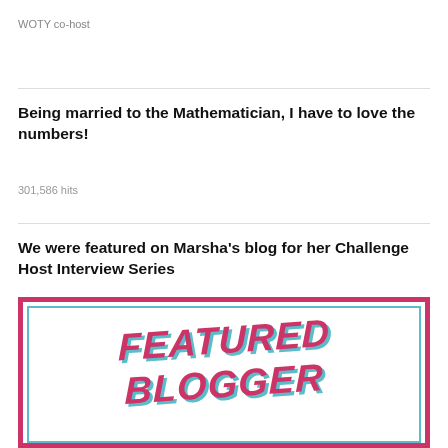WOTY co-host
Being married to the Mathematician, I have to love the numbers!
301,586 hits
We were featured on Marsha’s blog for her Challenge Host Interview Series
[Figure (illustration): Featured Blogger badge with pink/magenta bold italic text reading 'FEATURED BLOGGER' with teal shadow, surrounded by a pink border and teal inner border on white background.]